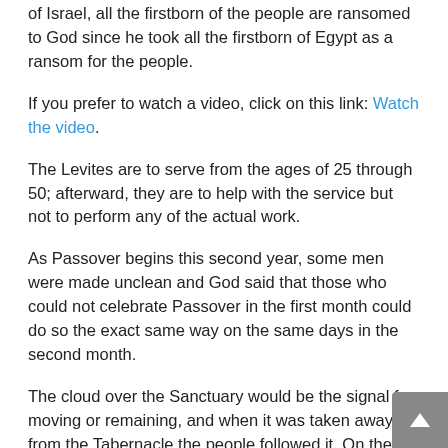of Israel, all the firstborn of the people are ransomed to God since he took all the firstborn of Egypt as a ransom for the people.
If you prefer to watch a video, click on this link: Watch the video.
The Levites are to serve from the ages of 25 through 50; afterward, they are to help with the service but not to perform any of the actual work.
As Passover begins this second year, some men were made unclean and God said that those who could not celebrate Passover in the first month could do so the exact same way on the same days in the second month.
The cloud over the Sanctuary would be the signal for moving or remaining, and when it was taken away from the Tabernacle the people followed it. On the 20th day of the second month of the second year of freedom, the cloud moved to the desert of Paran. I believe this happened on the 20th day as there were those who were still celebrating the